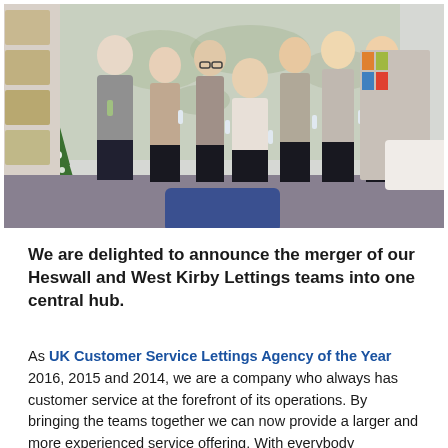[Figure (photo): Group photo of 8 employees (1 man and 7 women) standing in an office with a Christmas tree on the left, a world map on the wall behind them, and display racks on the right. They are holding drinks and celebrating. A blue chair is visible in the foreground.]
We are delighted to announce the merger of our Heswall and West Kirby Lettings teams into one central hub.
As UK Customer Service Lettings Agency of the Year 2016, 2015 and 2014, we are a company who always has customer service at the forefront of its operations. By bringing the teams together we can now provide a larger and more experienced service offering. With everybody